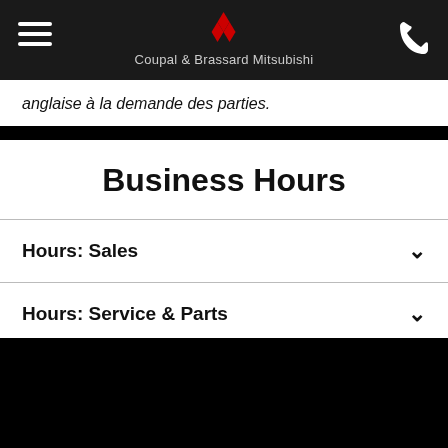Coupal & Brassard Mitsubishi
anglaise à la demande des parties.
Business Hours
Hours: Sales
Hours: Service & Parts